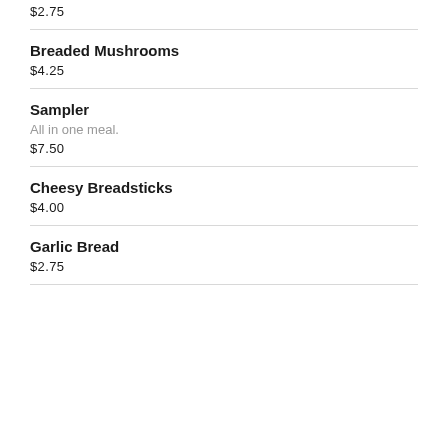$2.75
Breaded Mushrooms
$4.25
Sampler
All in one meal.
$7.50
Cheesy Breadsticks
$4.00
Garlic Bread
$2.75